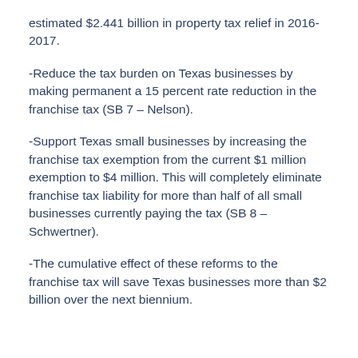estimated $2.441 billion in property tax relief in 2016-2017.
-Reduce the tax burden on Texas businesses by making permanent a 15 percent rate reduction in the franchise tax (SB 7 – Nelson).
-Support Texas small businesses by increasing the franchise tax exemption from the current $1 million exemption to $4 million. This will completely eliminate franchise tax liability for more than half of all small businesses currently paying the tax (SB 8 – Schwertner).
-The cumulative effect of these reforms to the franchise tax will save Texas businesses more than $2 billion over the next biennium.